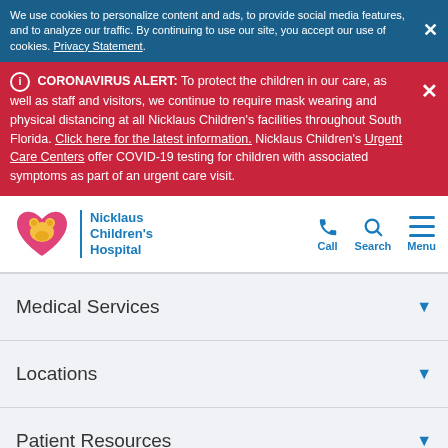We use cookies to personalize content and ads, to provide social media features, and to analyze our traffic. By continuing to use our site, you accept our use of cookies. Privacy Statement.
ℹ CORONAVIRUS ALERT: To protect the children in our care, as well as staff and visitors, we continue to require mask wearing and physical distancing at all Nicklaus Children's facilities throughout South Florida. Click here for the latest information. Nicklaus Children's Urgent Care Centers offer COVID-19 testing for children with associated symptoms as part of an urgent care visit.
[Figure (logo): Nicklaus Children's Hospital logo with pink heart and yellow bear]
Medical Services
Locations
Patient Resources
About Us